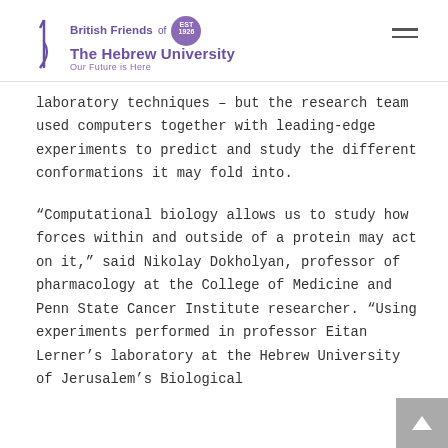British Friends of The Hebrew University — Our Future is Here
laboratory techniques – but the research team used computers together with leading-edge experiments to predict and study the different conformations it may fold into.
“Computational biology allows us to study how forces within and outside of a protein may act on it,” said Nikolay Dokholyan, professor of pharmacology at the College of Medicine and Penn State Cancer Institute researcher. “Using experiments performed in professor Eitan Lerner’s laboratory at the Hebrew University of Jerusalem’s Biological